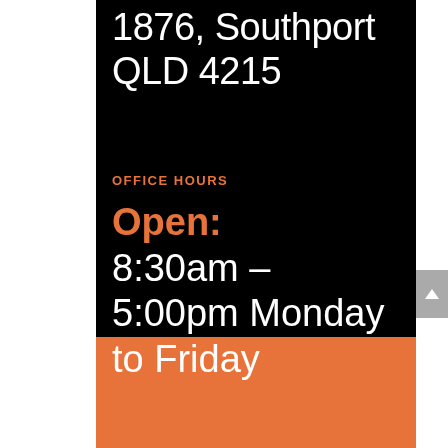1876, Southport QLD 4215
OFFICE HOURS
Open: 8:30am – 5:00pm Monday to Friday